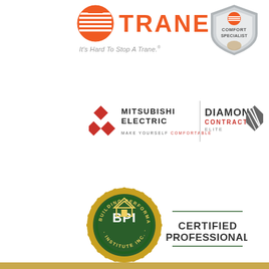[Figure (logo): Trane logo with circular red striped icon, TRANE wordmark in orange, tagline 'It's Hard To Stop A Trane.' and Trane Comfort Specialist badge shield]
[Figure (logo): Mitsubishi Electric Diamond Contractor Elite logo with three-diamond symbol, MITSUBISHI ELECTRIC text, MAKE YOURSELF COMFORTABLE tagline, and DIAMOND CONTRACTOR ELITE badge with diagonal stripe graphic]
[Figure (logo): Building Performance Institute (BPI) Certified Professional seal — circular gold/green badge with BPI in center and 'BUILDING PERFORMANCE INSTITUTE INC.' around edge, next to CERTIFIED PROFESSIONAL text with horizontal lines]